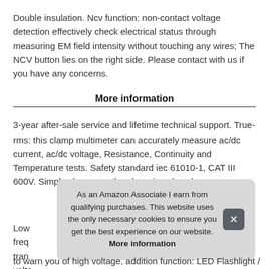Double insulation. Ncv function: non-contact voltage detection effectively check electrical status through measuring EM field intensity without touching any wires; The NCV button lies on the right side. Please contact with us if you have any concerns.
More information
3-year after-sale service and lifetime technical support. True-rms: this clamp multimeter can accurately measure ac/dc current, ac/dc voltage, Resistance, Continuity and Temperature tests. Safety standard iec 61010-1, CAT III 600V. Simply place your thumb on it and push.
Low freq tran volta
As an Amazon Associate I earn from qualifying purchases. This website uses the only necessary cookies to ensure you get the best experience on our website. More information
to warn you of high voltage, addition function: LED Flashlight /